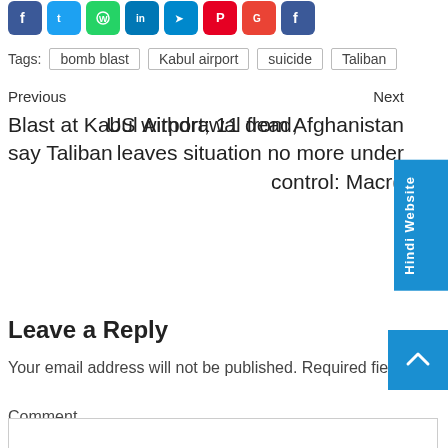[Figure (infographic): Social media share buttons: Facebook, Twitter, WhatsApp, LinkedIn, Telegram, Pinterest, Gmail, Facebook]
Tags: bomb blast  Kabul airport  suicide  Taliban
Previous
Blast at Kabul Airport; 11 dead, say Taliban
Next
US withdrawal from Afghanistan leaves situation no more under control: Macron
Hindi Website
Leave a Reply
Your email address will not be published. Required fields are marked *
Comment